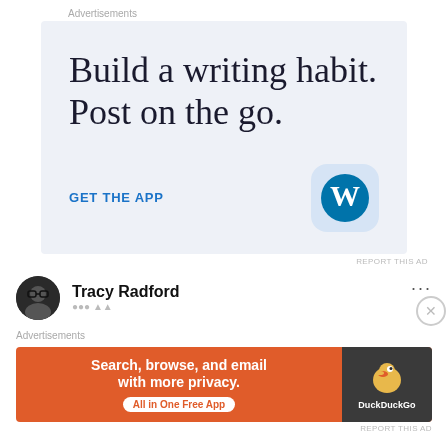Advertisements
[Figure (infographic): WordPress app advertisement with text 'Build a writing habit. Post on the go.' and a 'GET THE APP' call-to-action link with WordPress logo icon on a light blue background.]
REPORT THIS AD
Tracy Radford
Advertisements
[Figure (infographic): DuckDuckGo advertisement: 'Search, browse, and email with more privacy. All in One Free App' on an orange background with DuckDuckGo logo on dark side panel.]